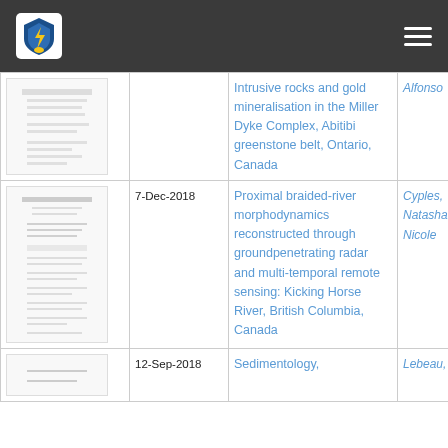[Figure (screenshot): University repository navigation bar with logo and hamburger menu]
| Thumbnail | Date | Title | Author |
| --- | --- | --- | --- |
| [thumbnail] |  | Intrusive rocks and gold mineralisation in the Miller Dyke Complex, Abitibi greenstone belt, Ontario, Canada | Alfonso |
| [thumbnail] | 7-Dec-2018 | Proximal braided-river morphodynamics reconstructed through groundpenetrating radar and multi-temporal remote sensing: Kicking Horse River, British Columbia, Canada | Cyples, Natasha Nicole |
| [thumbnail] | 12-Sep-2018 | Sedimentology, | Lebeau, |